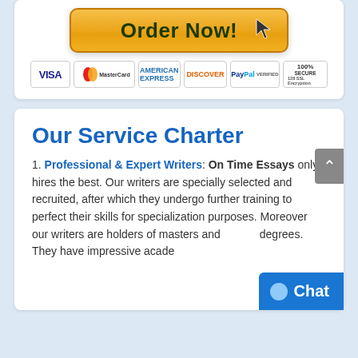[Figure (screenshot): Order Now button with golden gradient styling and cursor icon]
[Figure (infographic): Payment method icons: VISA, MasterCard, American Express, Discover, PayPal, 100% Secure SSL Encryption]
Our Service Charter
1. Professional & Expert Writers: On Time Essays only hires the best. Our writers are specially selected and recruited, after which they undergo further training to perfect their skills for specialization purposes. Moreover our writers are holders of masters and degrees. They have impressive acade... and rich in writing English...